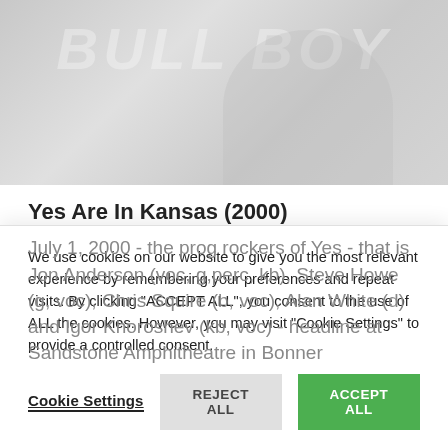[Figure (photo): Grayscale concert or band photo used as a header image with faded text overlay]
Yes Are In Kansas (2000)
July 1, 2000 - the prog rockers of Yes - that is Jon Anderson (voc, g,perc, kb), Steve Howe (g, voc), Chris Squire (b, voc), Alan White (d) and Igor Khoroshev (kb, voc) - headline at Sandstone Amphitheatre in Bonner
We use cookies on our website to give you the most relevant experience by remembering your preferences and repeat visits. By clicking "ACCEPT ALL", you consent to the use of ALL the cookies. However, you may visit "Cookie Settings" to provide a controlled consent.